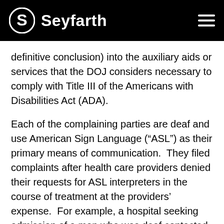Seyfarth
definitive conclusion) into the auxiliary aids or services that the DOJ considers necessary to comply with Title III of the Americans with Disabilities Act (ADA).
Each of the complaining parties are deaf and use American Sign Language (“ASL”) as their primary means of communication.  They filed complaints after health care providers denied their requests for ASL interpreters in the course of treatment at the providers’ expense.  For example, a hospital seeking admission of a man who was deaf contacted both rehabilitation centers.  After those centers failed to confirm that they would provide